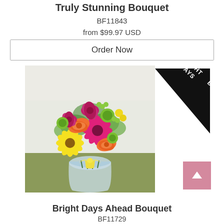Truly Stunning Bouquet
BF11843
from $99.97 USD
Order Now
[Figure (photo): Colorful flower bouquet in a glass vase with yellow ribbon, featuring pink gerberas, orange roses, yellow daisies, and green accents, with a 'BRIGHT DAYS' banner in the top right corner]
Bright Days Ahead Bouquet
BF11729